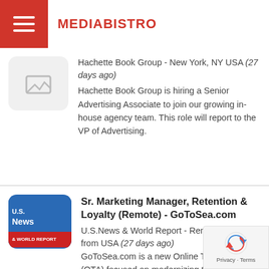MEDIABISTRO
Hachette Book Group - New York, NY USA (27 days ago)
Hachette Book Group is hiring a Senior Advertising Associate to join our growing in-house agency team. This role will report to the VP of Advertising.
Sr. Marketing Manager, Retention & Loyalty (Remote) - GoToSea.com
U.S.News & World Report - Remote, Work from USA (27 days ago)
GoToSea.com is a new Online Travel Agency (OTA) focused on modernizing the cruise booking experience and backed by U.S. News. We're building b i...